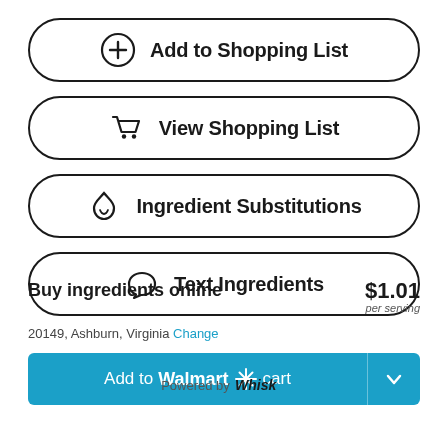[Figure (screenshot): Button: Add to Shopping List with plus-circle icon]
[Figure (screenshot): Button: View Shopping List with shopping cart icon]
[Figure (screenshot): Button: Ingredient Substitutions with droplet icon]
[Figure (screenshot): Button: Text Ingredients with speech bubble icon]
Buy ingredients online
$1.01 per serving
20149, Ashburn, Virginia Change
[Figure (screenshot): Add to Walmart cart button with dropdown arrow]
Powered by Whisk